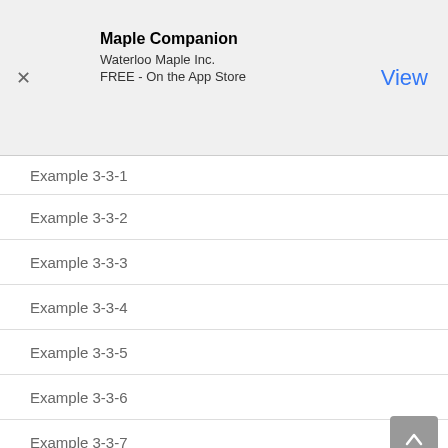[Figure (other): App Store advertisement banner for Maple Companion by Waterloo Maple Inc., FREE on the App Store, with a close (X) button and a View link]
Example 3-3-1
Example 3-3-2
Example 3-3-3
Example 3-3-4
Example 3-3-5
Example 3-3-6
Example 3-3-7
Example 3-3-8
Example 3-3-9
Example 3-3-10